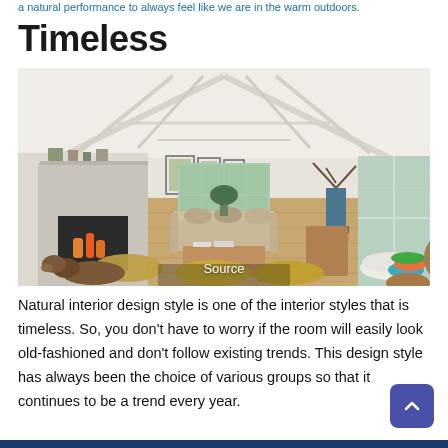a natural performance to always feel like we are in the warm outdoors.
Timeless
[Figure (photo): Interior of a large living room with vaulted white ceiling, exposed beams, fireplace, sofa, wooden floor, cushions on floor, a dog lying down, large windows.]
Source
Natural interior design style is one of the interior styles that is timeless. So, you don't have to worry if the room will easily look old-fashioned and don't follow existing trends. This design style has always been the choice of various groups so that it continues to be a trend every year.